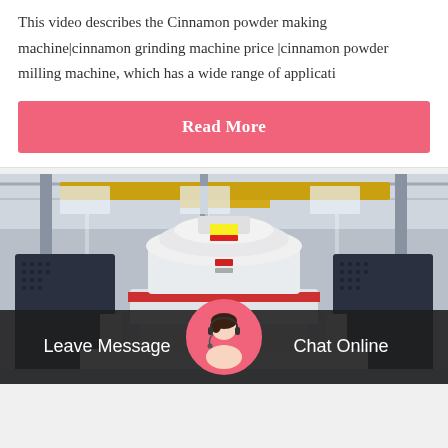This video describes the Cinnamon powder making machine|cinnamon grinding machine price |cinnamon powder milling machine, which has a wide range of applicati
Read More
[Figure (photo): Industrial crushing/milling machine (white and red) photographed inside a large factory hall with metal roof trusses and yellow crane beams visible overhead. Dark perforated metal panels flank the machine sides.]
Leave Message
[Figure (photo): Customer service representative avatar — woman wearing headset, circular pink-bordered profile photo centered in bottom navigation bar.]
Chat Online